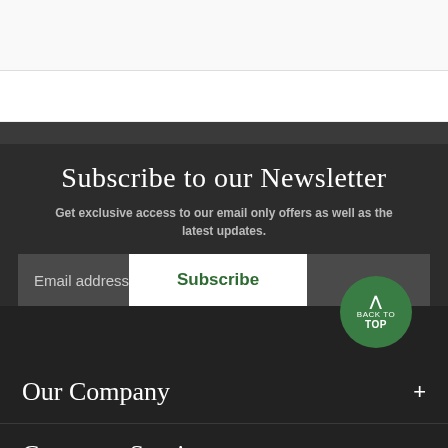Subscribe to our Newsletter
Get exclusive access to our email only offers as well as the latest updates.
Email address
Subscribe
[Figure (other): Back to top button - green circular button with upward arrow and text BACK TO TOP]
Our Company
Customer Service